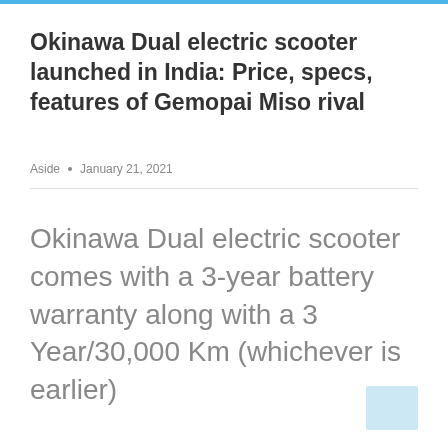Okinawa Dual electric scooter launched in India: Price, specs, features of Gemopai Miso rival
Aside  •  January 21, 2021
Okinawa Dual electric scooter comes with a 3-year battery warranty along with a 3 Year/30,000 Km (whichever is earlier)